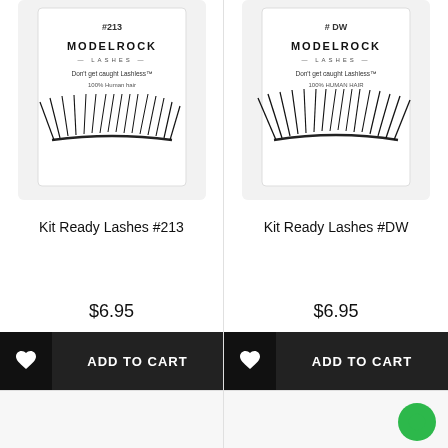[Figure (photo): ModelRock Lashes Kit Ready Lashes #213 product packaging showing false eyelashes on white/grey card]
Kit Ready Lashes #213
$6.95
[Figure (photo): ModelRock Lashes Kit Ready Lashes #DW product packaging showing false eyelashes on white/grey card]
Kit Ready Lashes #DW
$6.95